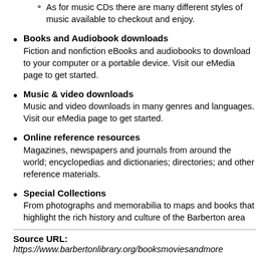As for music CDs there are many different styles of music available to checkout and enjoy.
Books and Audiobook downloads — Fiction and nonfiction eBooks and audiobooks to download to your computer or a portable device. Visit our eMedia page to get started.
Music & video downloads — Music and video downloads in many genres and languages. Visit our eMedia page to get started.
Online reference resources — Magazines, newspapers and journals from around the world; encyclopedias and dictionaries; directories; and other reference materials.
Special Collections — From photographs and memorabilia to maps and books that highlight the rich history and culture of the Barberton area
Source URL: https://www.barbertonlibrary.org/booksmoviesandmore